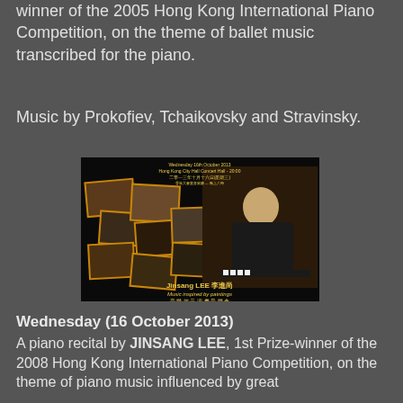winner of the 2005 Hong Kong International Piano Competition, on the theme of ballet music transcribed for the piano.
Music by Prokofiev, Tchaikovsky and Stravinsky.
[Figure (photo): Concert promotional poster for Jinsang LEE piano recital. Wednesday 16th October 2013, Hong Kong City Hall Concert Hall 20:00. Shows pianist Jinsang LEE at piano with collage of paintings. Text: 'Jinsang LEE 李進尚, Music inspired by paintings']
Wednesday (16 October 2013)
A piano recital by JINSANG LEE, 1st Prize-winner of the 2008 Hong Kong International Piano Competition, on the theme of piano music influenced by great